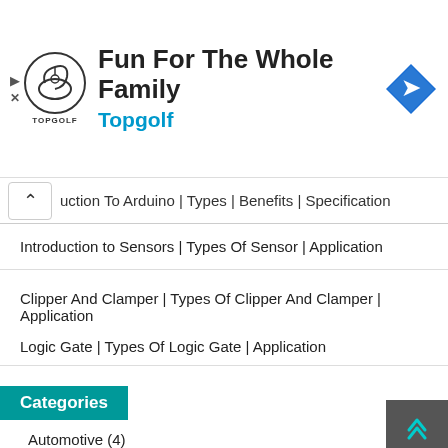[Figure (other): Topgolf advertisement banner with logo, title 'Fun For The Whole Family', subtitle 'Topgolf', and a navigation arrow icon]
uction To Arduino | Types | Benefits | Specification
Introduction to Sensors | Types Of Sensor | Application
Clipper And Clamper | Types Of Clipper And Clamper | Application
Logic Gate | Types Of Logic Gate | Application
Categories
Automotive (4)
Communication (7)